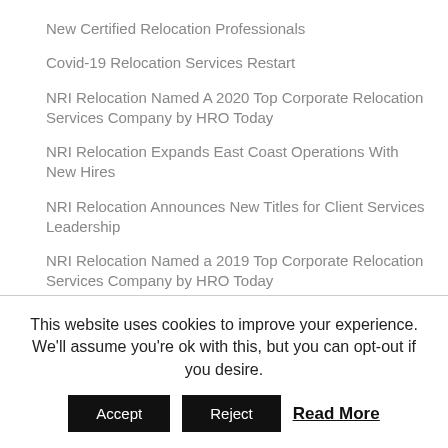New Certified Relocation Professionals
Covid-19 Relocation Services Restart
NRI Relocation Named A 2020 Top Corporate Relocation Services Company by HRO Today
NRI Relocation Expands East Coast Operations With New Hires
NRI Relocation Announces New Titles for Client Services Leadership
NRI Relocation Named a 2019 Top Corporate Relocation Services Company by HRO Today
NRI Relocation Posts Record Results For 2018 Financial Year
This website uses cookies to improve your experience. We'll assume you're ok with this, but you can opt-out if you desire.